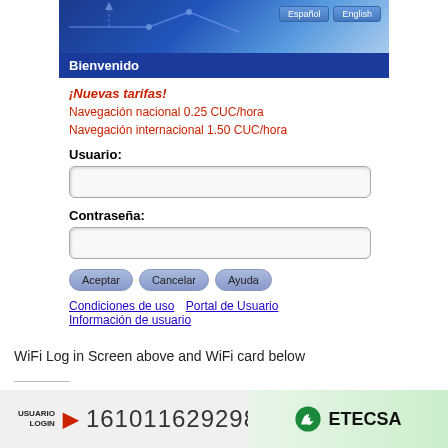[Figure (screenshot): WiFi login screen with ETECSA branding, blue banner, Bienvenido header, new tariff info in red, username and password fields, Aceptar/Cancelar/Ayuda buttons, and links]
WiFi Log in Screen above and WiFi card below
[Figure (screenshot): Bottom portion of WiFi card showing USUARIO LOGIN label, account number 161011629298, and ETECSA logo on green background]